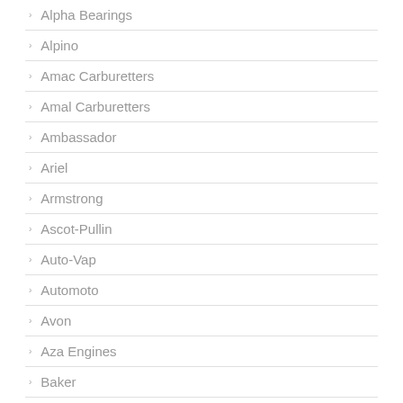Alpha Bearings
Alpino
Amac Carburetters
Amal Carburetters
Ambassador
Ariel
Armstrong
Ascot-Pullin
Auto-Vap
Automoto
Avon
Aza Engines
Baker
Bantomoto
Barr & Stroud
Barron
Bat
Batavus